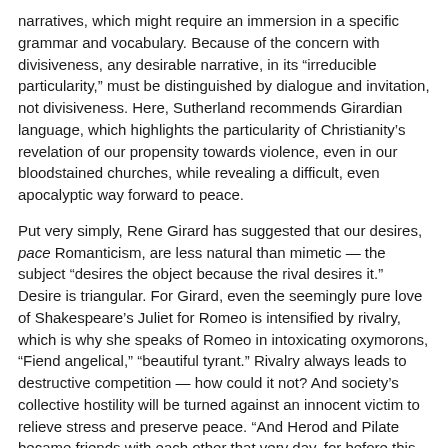narratives, which might require an immersion in a specific grammar and vocabulary. Because of the concern with divisiveness, any desirable narrative, in its “irreducible particularity,” must be distinguished by dialogue and invitation, not divisiveness. Here, Sutherland recommends Girardian language, which highlights the particularity of Christianity’s revelation of our propensity towards violence, even in our bloodstained churches, while revealing a difficult, even apocalyptic way forward to peace.
Put very simply, Rene Girard has suggested that our desires, pace Romanticism, are less natural than mimetic — the subject “desires the object because the rival desires it.” Desire is triangular. For Girard, even the seemingly pure love of Shakespeare’s Juliet for Romeo is intensified by rivalry, which is why she speaks of Romeo in intoxicating oxymorons, “Fiend angelical,” “beautiful tyrant.” Rivalry always leads to destructive competition — how could it not? And society’s collective hostility will be turned against an innocent victim to relieve stress and preserve peace. “And Herod and Pilate became friends with each other that very day, for before this they had been at enmity with each other” (Luke 23:12; see here).